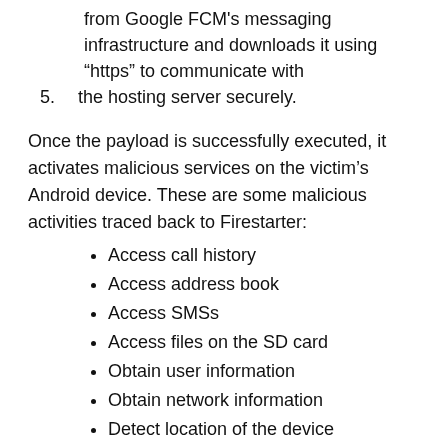from Google FCM's messaging infrastructure and downloads it using “https” to communicate with
5. the hosting server securely.
Once the payload is successfully executed, it activates malicious services on the victim’s Android device. These are some malicious activities traced back to Firestarter:
Access call history
Access address book
Access SMSs
Access files on the SD card
Obtain user information
Obtain network information
Detect location of the device
Access installed applications
Steal browser information
Steal calendar information
Steal WhatsApp information
Keylogging